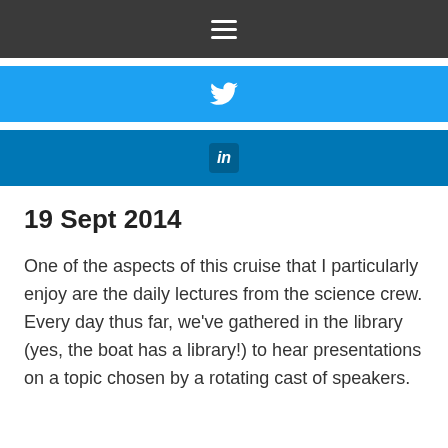☰
[Figure (logo): Twitter bird icon on a blue background bar]
[Figure (logo): LinkedIn 'in' icon on a dark blue background bar]
19 Sept 2014
One of the aspects of this cruise that I particularly enjoy are the daily lectures from the science crew. Every day thus far, we've gathered in the library (yes, the boat has a library!) to hear presentations on a topic chosen by a rotating cast of speakers.